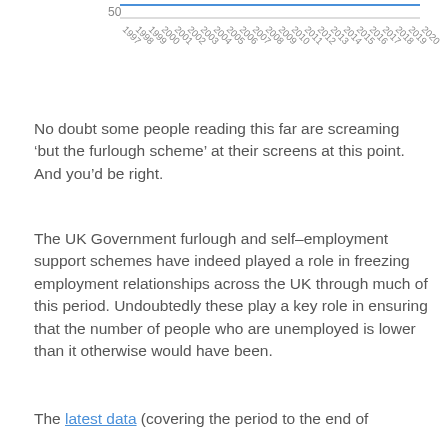[Figure (continuous-plot): Partial line chart showing years 1997–2020 on x-axis, y-axis value 50 visible at bottom. Diagonal year labels along x-axis.]
No doubt some people reading this far are screaming ‘but the furlough scheme’ at their screens at this point. And you’d be right.
The UK Government furlough and self-employment support schemes have indeed played a role in freezing employment relationships across the UK through much of this period. Undoubtedly these play a key role in ensuring that the number of people who are unemployed is lower than it otherwise would have been.
The latest data (covering the period to the end of July 2020) shows that 790,000 jobs in Scotland have...